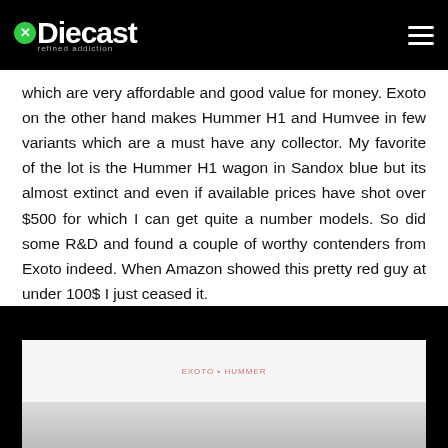Diecast refined addiction
which are very affordable and good value for money. Exoto on the other hand makes Hummer H1 and Humvee in few variants which are a must have any collector. My favorite of the lot is the Hummer H1 wagon in Sandox blue but its almost extinct and even if available prices have shot over $500 for which I can get quite a number models. So did some R&D and found a couple of worthy contenders from Exoto indeed. When Amazon showed this pretty red guy at under 100$ I just ceased it.
[Figure (photo): A white rectangular product box photographed on a white surface, showing the top and front face of the box. Small red text/logo visible on top of the box.]